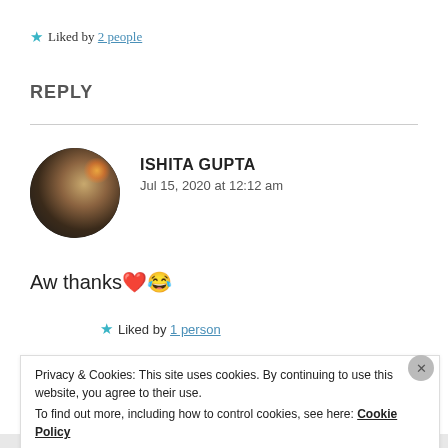★ Liked by 2 people
REPLY
ISHITA GUPTA — Jul 15, 2020 at 12:12 am
Aw thanks❤️😂
★ Liked by 1 person
Privacy & Cookies: This site uses cookies. By continuing to use this website, you agree to their use. To find out more, including how to control cookies, see here: Cookie Policy
Close and accept